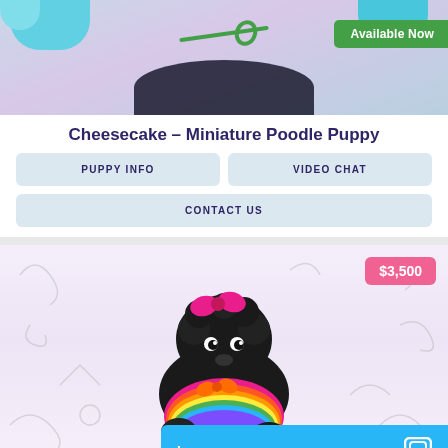[Figure (photo): Top portion of a puppy photo showing colorful shoes and a green rope toy with pink/purple background, with a green 'Available Now' badge overlay]
Cheesecake – Miniature Poodle Puppy
PUPPY INFO
VIDEO CHAT
CONTACT US
[Figure (photo): Black miniature poodle puppy wearing a pink bow on head and colorful rainbow ruffled dress/outfit with orange bow collar, sitting on a light background with doodle drawings. Pink price badge shows $3,500 in top right corner.]
Leave a message